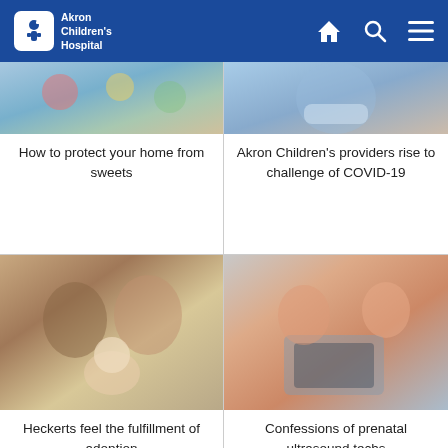[Figure (logo): Akron Children's Hospital logo with white icon on blue header background]
[Figure (photo): Partial photo - top of image showing sweets/candy related image]
[Figure (photo): Partial photo - top of image showing COVID-19 related healthcare provider]
How to protect your home from sweets
Akron Children's providers rise to challenge of COVID-19
[Figure (photo): Couple (Heckerts) smiling and holding a newborn baby dressed in striped outfit, baby wearing hospital hat]
[Figure (photo): Two women, one in pink scrubs, at an ultrasound machine in a clinical setting]
Heckerts feel the fulfillment of adoption
Confessions of prenatal ultrasound techs